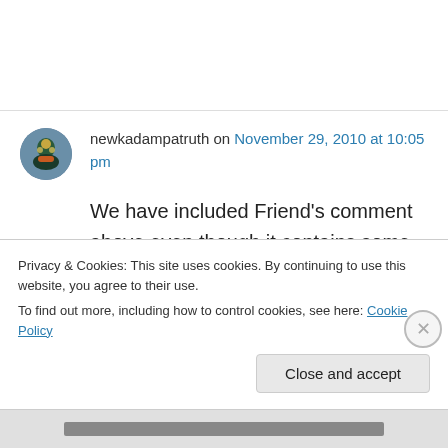newkadampatruth on November 29, 2010 at 10:05 pm
We have included Friend's comment above even though it contains some harsh criticism because it is clearly well considered and intended to be constructive
Privacy & Cookies: This site uses cookies. By continuing to use this website, you agree to their use.
To find out more, including how to control cookies, see here: Cookie Policy